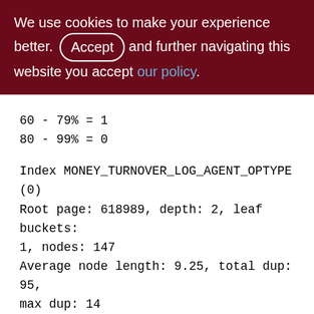We use cookies to make your experience better. By accepting and further navigating this website you accept our policy.
60 - 79% = 1
80 - 99% = 0

Index MONEY_TURNOVER_LOG_AGENT_OPTYPE (0)
Root page: 618989, depth: 2, leaf buckets: 1, nodes: 147
Average node length: 9.25, total dup: 95, max dup: 14
Average key length: 7.49, compression ratio: 2.54
Average prefix length: 13.86, average data length: 5.14
Cluster factor: 27, ratio: 3.40